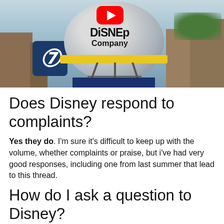[Figure (photo): Aerial photo of the Walt Disney Company water tower with the Disney logo sphere, yellow band, and 'Company' text. A YouTube play button overlay is visible. The Disney 'D' logo appears on a dark blue background panel to the left.]
Does Disney respond to complaints?
Yes they do. I'm sure it's difficult to keep up with the volume, whether complaints or praise, but i've had very good responses, including one from last summer that lead to this thread.
How do I ask a question to Disney?